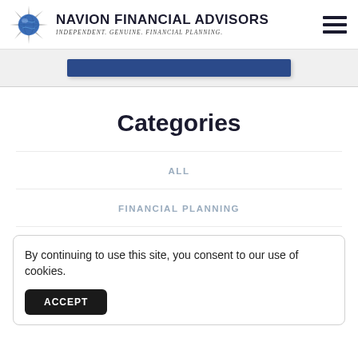NAVION FINANCIAL ADVISORS — Independent. Genuine. Financial Planning.
[Figure (other): Blue rounded rectangle button/bar element in a light gray section]
Categories
ALL
FINANCIAL PLANNING
By continuing to use this site, you consent to our use of cookies.